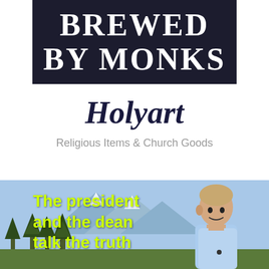[Figure (logo): Dark navy/black banner with white bold serif text reading BREWED BY MONKS]
Holyart
Religious Items & Church Goods
[Figure (photo): Outdoor photo of a man in a light blue shirt standing in front of pine trees and a mountain with snow. Yellow-green bold text overlay reads: The president and the dean talk the truth]